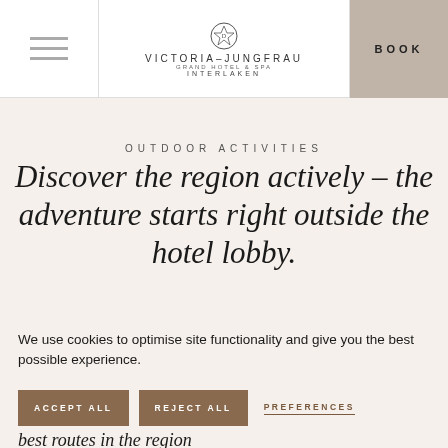Victoria-Jungfrau Grand Hotel & Spa Interlaken — navigation bar with hamburger menu, logo, and BOOK button
OUTDOOR ACTIVITIES
Discover the region actively – the adventure starts right outside the hotel lobby.
We use cookies to optimise site functionality and give you the best possible experience.
ACCEPT ALL | REJECT ALL | PREFERENCES
best routes in the region